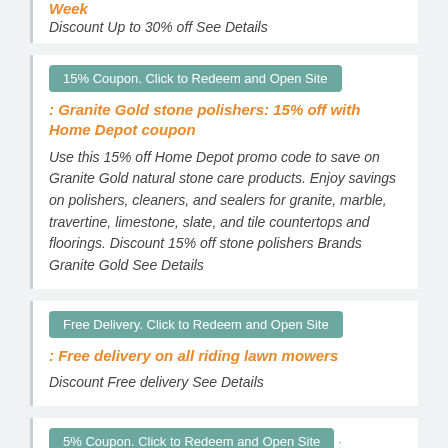Week
Discount Up to 30% off See Details
15% Coupon. Click to Redeem and Open Site
: Granite Gold stone polishers: 15% off with Home Depot coupon
Use this 15% off Home Depot promo code to save on Granite Gold natural stone care products. Enjoy savings on polishers, cleaners, and sealers for granite, marble, travertine, limestone, slate, and tile countertops and floorings. Discount 15% off stone polishers Brands Granite Gold See Details
Free Delivery. Click to Redeem and Open Site
: Free delivery on all riding lawn mowers
Discount Free delivery See Details
5% Coupon. Click to Redeem and Open Site :
5% off subscription orders with Home Depot